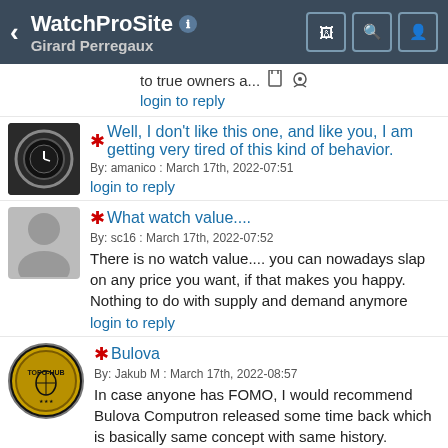WatchProSite — Girard Perregaux
to true owners a...
login to reply
Well, I don't like this one, and like you, I am getting very tired of this kind of behavior.
By: amanico : March 17th, 2022-07:51
login to reply
What watch value....
By: sc16 : March 17th, 2022-07:52
There is no watch value.... you can nowadays slap on any price you want, if that makes you happy. Nothing to do with supply and demand anymore
login to reply
Bulova
By: Jakub M : March 17th, 2022-08:57
In case anyone has FOMO, I would recommend Bulova Computron released some time back which is basically same concept with same history. wornandwound.com I really like this recent edition with open case.